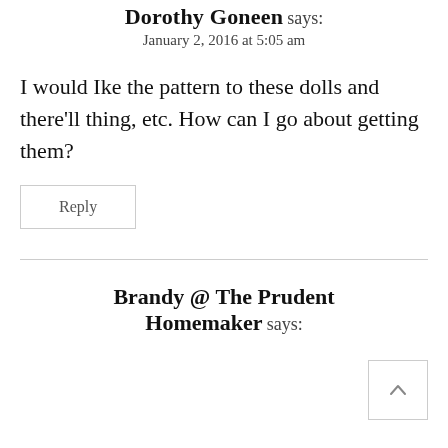Dorothy Goneen says:
January 2, 2016 at 5:05 am
I would Ike the pattern to these dolls and there'll thing, etc. How can I go about getting them?
Reply
Brandy @ The Prudent Homemaker says: